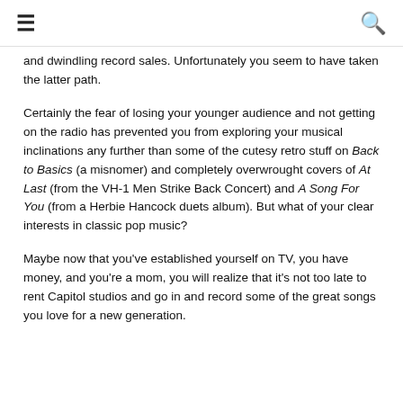≡  🔍
and dwindling record sales.  Unfortunately you seem to have taken the latter path.
Certainly the fear of losing your younger audience and not getting on the radio has prevented you from exploring your musical inclinations any further than some of the cutesy retro stuff on Back to Basics (a misnomer) and completely overwrought covers of At Last (from the VH-1 Men Strike Back Concert) and A Song For You (from a Herbie Hancock duets album).  But what of your clear interests in classic pop music?
Maybe now that you've established yourself on TV, you have money, and you're a mom, you will realize that it's not too late to rent Capitol studios and go in and record some of the great songs you love for a new generation.